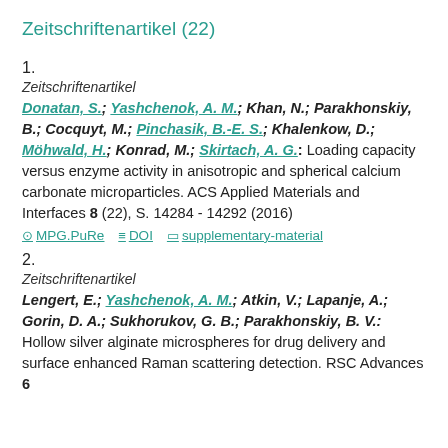Zeitschriftenartikel (22)
1.
Zeitschriftenartikel
Donatan, S.; Yashchenok, A. M.; Khan, N.; Parakhonskiy, B.; Cocquyt, M.; Pinchasik, B.-E. S.; Khalenkow, D.; Möhwald, H.; Konrad, M.; Skirtach, A. G.: Loading capacity versus enzyme activity in anisotropic and spherical calcium carbonate microparticles. ACS Applied Materials and Interfaces 8 (22), S. 14284 - 14292 (2016)
MPG.PuRe  DOI  supplementary-material
2.
Zeitschriftenartikel
Lengert, E.; Yashchenok, A. M.; Atkin, V.; Lapanje, A.; Gorin, D. A.; Sukhorukov, G. B.; Parakhonskiy, B. V.: Hollow silver alginate microspheres for drug delivery and surface enhanced Raman scattering detection. RSC Advances 6